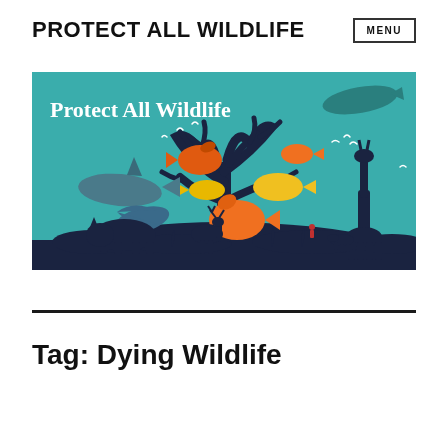PROTECT ALL WILDLIFE
[Figure (illustration): Banner illustration for Protect All Wildlife showing a teal/blue background with silhouettes of wildlife including a rhino, deer, giraffe, shark, manta ray, and colorful fish (orange, yellow) around a dark branching coral/tree structure. White seabirds in the background. Text 'Protect All Wildlife' in white serif font top-left. A dark teal whale silhouette top-right.]
Tag: Dying Wildlife